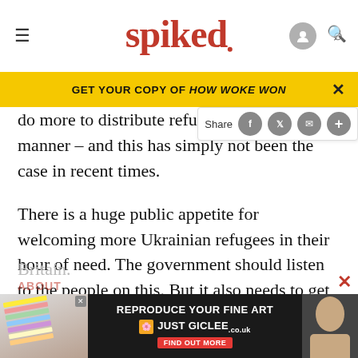spiked
GET YOUR COPY OF HOW WOKE WON
do more to distribute refugees in a fair manner – and this has simply not been the case in recent times.
There is a huge public appetite for welcoming more Ukrainian refugees in their hour of need. The government should listen to the people on this. But it also needs to get the resettlement process right, and not simply pass the buck to the poorest areas in Britain.
[Figure (screenshot): Advertisement for Just Giclee art reproduction service with dark background, colorful sticky note pad image on left, white text 'REPRODUCE YOUR FINE ART' and Just Giclee logo, red 'FIND OUT MORE' button on right.]